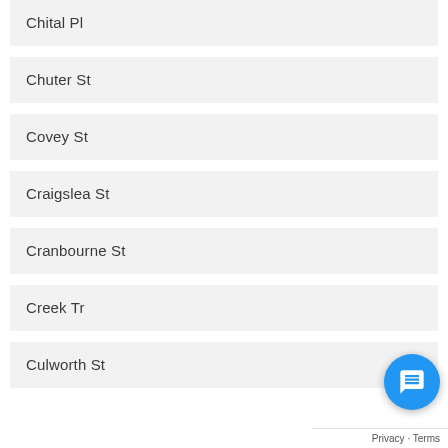Chital Pl
Chuter St
Covey St
Craigslea St
Cranbourne St
Creek Tr
Culworth St